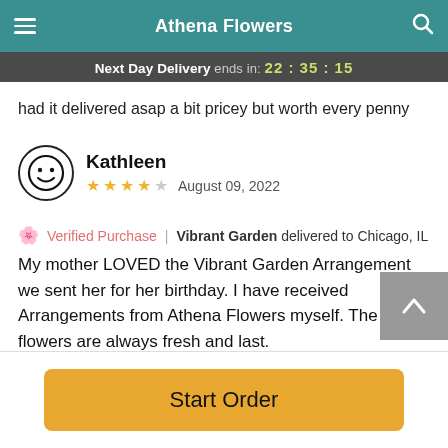Athena Flowers
Next Day Delivery ends in: 22 : 35 : 15
had it delivered asap a bit pricey but worth every penny
Kathleen
★★★★☆ August 09, 2022
🌸 Verified Purchase | Vibrant Garden delivered to Chicago, IL
My mother LOVED the Vibrant Garden Arrangement we sent her for her birthday. I have received Arrangements from Athena Flowers myself. The flowers are always fresh and last.
Start Order